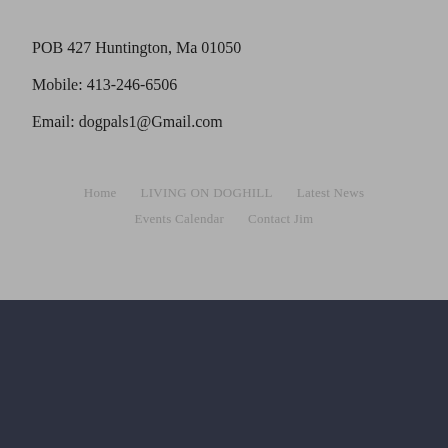POB 427 Huntington, Ma 01050
Mobile: 413-246-6506
Email: dogpals1@Gmail.com
Home   LIVING ON DOGHILL   Latest News   Events Calendar   Contact Jim
[Figure (other): Social media icons: Facebook, Twitter, Instagram, Pinterest]